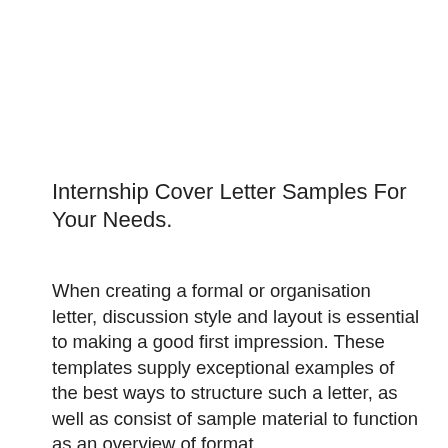Internship Cover Letter Samples For Your Needs.
When creating a formal or organisation letter, discussion style and layout is essential to making a good first impression. These templates supply exceptional examples of the best ways to structure such a letter, as well as consist of sample material to function as an overview of format.